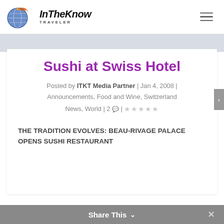[Figure (logo): InTheKnow Traveler logo with globe and flame icon]
InTheKnow Traveler
Sushi at Swiss Hotel
Posted by ITKT Media Partner | Jan 4, 2008 | Announcements, Food and Wine, Switzerland News, World | 2 💬 | ★☆☆☆☆
THE TRADITION EVOLVES: BEAU-RIVAGE PALACE OPENS SUSHI RESTAURANT
Share This ∨  ×